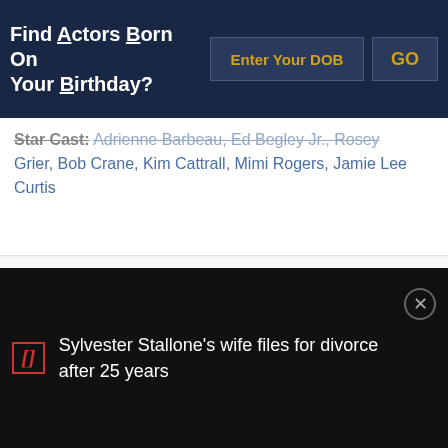Find Actors Born On Your Birthday?
Star Cast: Adrienne Barbeau, Ed Begley Jr., Rosey Grier, Bob Crane, Kim Cattrall, Mimi Rogers, Jamie Lee Curtis
My Favorite Husband
(1953)
[Figure (photo): Movie poster placeholder image showing a silhouette figure]
Sylvester Stallone's wife files for divorce after 25 years